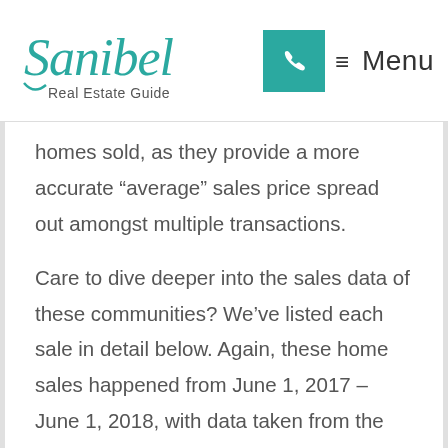Sanibel Real Estate Guide | Menu
homes sold, as they provide a more accurate “average” sales price spread out amongst multiple transactions.
Care to dive deeper into the sales data of these communities? We’ve listed each sale in detail below. Again, these home sales happened from June 1, 2017 – June 1, 2018, with data taken from the Sanibel-Captiva MLS on June 25, 2018.